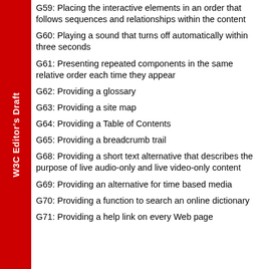W3C Editor's Draft
G59: Placing the interactive elements in an order that follows sequences and relationships within the content
G60: Playing a sound that turns off automatically within three seconds
G61: Presenting repeated components in the same relative order each time they appear
G62: Providing a glossary
G63: Providing a site map
G64: Providing a Table of Contents
G65: Providing a breadcrumb trail
G68: Providing a short text alternative that describes the purpose of live audio-only and live video-only content
G69: Providing an alternative for time based media
G70: Providing a function to search an online dictionary
G71: Providing a help link on every Web page